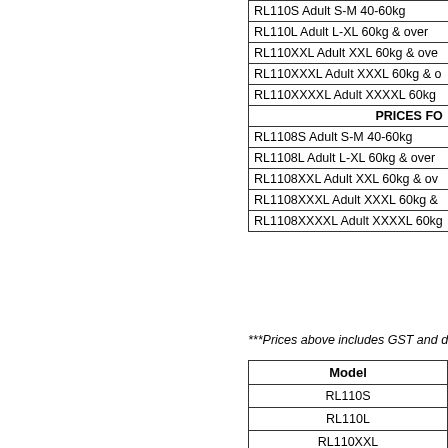| Product |
| --- |
| RL110S Adult S-M 40-60kg |
| RL110L Adult L-XL 60kg & over |
| RL110XXL Adult XXL 60kg & over |
| RL110XXXL Adult XXXL 60kg & o |
| RL110XXXXL Adult XXXXL 60kg |
| PRICES FO |
| RL1108S Adult S-M 40-60kg |
| RL1108L Adult L-XL 60kg & over |
| RL1108XXL Adult XXL 60kg & ov |
| RL1108XXXL Adult XXXL 60kg & |
| RL1108XXXXL Adult XXXXL 60kg |
***Prices above includes GST and do
| Model |
| --- |
| RL110S |
| RL110L |
| RL110XXL |
| RL110XXXL |
| RL110XXXXL |